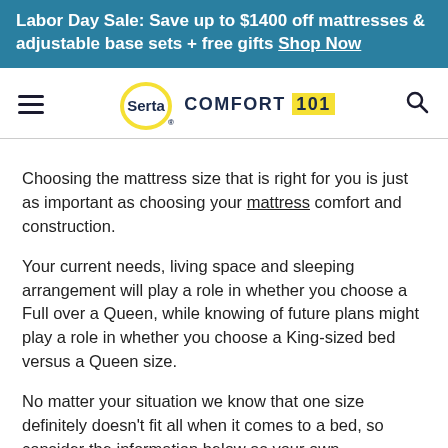Labor Day Sale: Save up to $1400 off mattresses & adjustable base sets + free gifts Shop Now
[Figure (logo): Serta Comfort 101 logo with hamburger menu and search icon navigation bar]
Choosing the mattress size that is right for you is just as important as choosing your mattress comfort and construction.
Your current needs, living space and sleeping arrangement will play a role in whether you choose a Full over a Queen, while knowing of future plans might play a role in whether you choose a King-sized bed versus a Queen size.
No matter your situation we know that one size definitely doesn't fit all when it comes to a bed, so consider the information below as your own